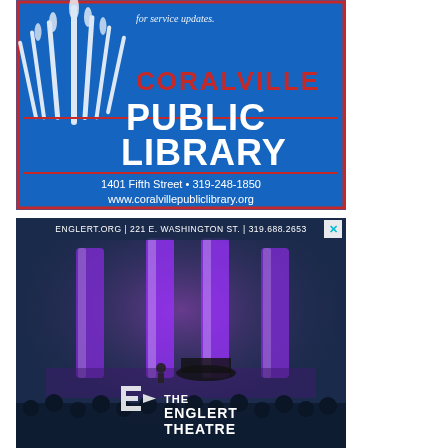[Figure (illustration): Coralville Public Library advertisement with blue background, stylized grass/reeds graphic on left, red 'CORALVILLE' text, white 'PUBLIC LIBRARY' large text, address '1401 Fifth Street • 319-248-1850' and website 'www.coralvillepubliclibrary.org']
[Figure (photo): Englert Theatre advertisement showing a concert venue stage with purple lighting and curtains, audience silhouettes in foreground, The Englert Theatre logo in lower center, text 'ENGLERT.ORG | 221 E. WASHINGTON ST. | 319.688.2653' at top, small X close button in upper right corner]